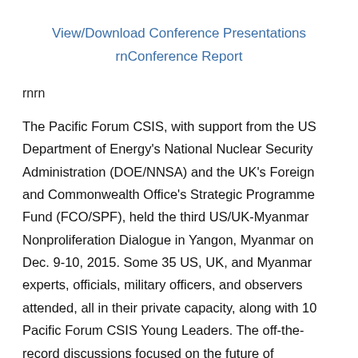View/Download Conference Presentations
rnConference Report
rnrn
The Pacific Forum CSIS, with support from the US Department of Energy's National Nuclear Security Administration (DOE/NNSA) and the UK's Foreign and Commonwealth Office's Strategic Programme Fund (FCO/SPF), held the third US/UK-Myanmar Nonproliferation Dialogue in Yangon, Myanmar on Dec. 9-10, 2015. Some 35 US, UK, and Myanmar experts, officials, military officers, and observers attended, all in their private capacity, along with 10 Pacific Forum CSIS Young Leaders. The off-the-record discussions focused on the future of nonproliferation...